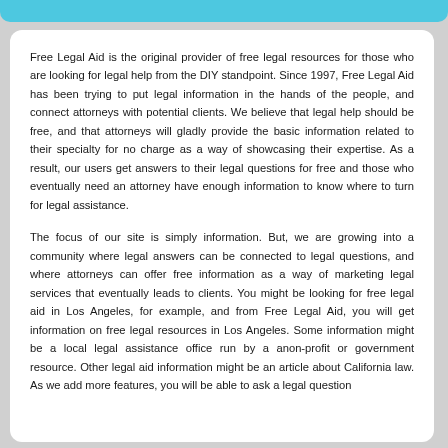Free Legal Aid is the original provider of free legal resources for those who are looking for legal help from the DIY standpoint. Since 1997, Free Legal Aid has been trying to put legal information in the hands of the people, and connect attorneys with potential clients. We believe that legal help should be free, and that attorneys will gladly provide the basic information related to their specialty for no charge as a way of showcasing their expertise. As a result, our users get answers to their legal questions for free and those who eventually need an attorney have enough information to know where to turn for legal assistance.
The focus of our site is simply information. But, we are growing into a community where legal answers can be connected to legal questions, and where attorneys can offer free information as a way of marketing legal services that eventually leads to clients. You might be looking for free legal aid in Los Angeles, for example, and from Free Legal Aid, you will get information on free legal resources in Los Angeles. Some information might be a local legal assistance office run by a anon-profit or government resource. Other legal aid information might be an article about California law. As we add more features, you will be able to ask a legal question